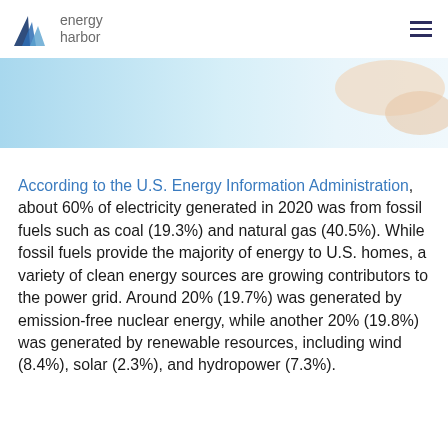energy harbor
[Figure (photo): Partial hero banner image with light blue on the left side and a person's hand/arm visible on the right against a white background]
According to the U.S. Energy Information Administration, about 60% of electricity generated in 2020 was from fossil fuels such as coal (19.3%) and natural gas (40.5%). While fossil fuels provide the majority of energy to U.S. homes, a variety of clean energy sources are growing contributors to the power grid. Around 20% (19.7%) was generated by emission-free nuclear energy, while another 20% (19.8%) was generated by renewable resources, including wind (8.4%), solar (2.3%), and hydropower (7.3%).